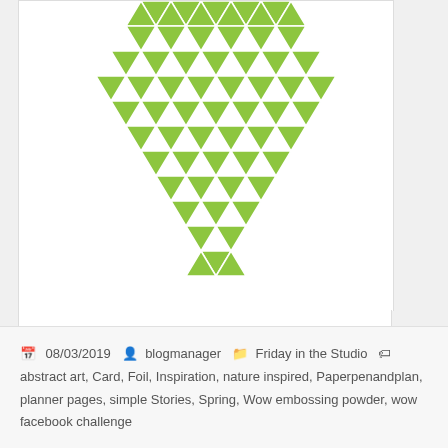[Figure (illustration): Green geometric mosaic/polygon logo in the shape of a heart or globe, partially visible at top]
About Post Author
blogmanager
webadmin@basementstudio.lu
08/03/2019  blogmanager  Friday in the Studio  abstract art, Card, Foil, Inspiration, nature inspired, Paperpenandplan, planner pages, simple Stories, Spring, Wow embossing powder, wow facebook challenge